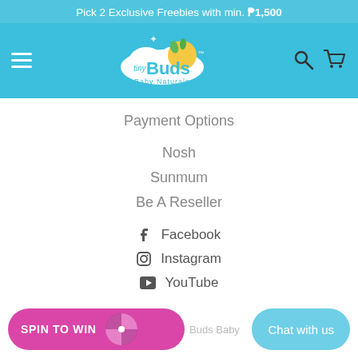Pick 2 Exclusive Freebies with min. ₱1,500
[Figure (logo): Tiny Buds Baby Naturals logo on sky blue navigation bar with hamburger menu, search and cart icons]
Payment Options
Nosh
Sunmum
Be A Reseller
Facebook
Instagram
YouTube
TikTok
[Figure (infographic): Spin to Win button with spinning wheel graphic and Tiny Buds Baby label, and Chat with us button on the right]